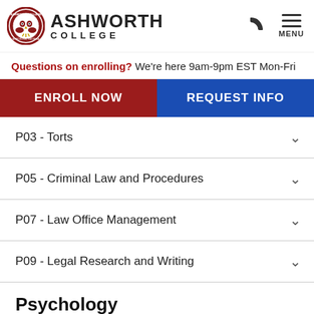Ashworth College
Questions on enrolling? We're here 9am-9pm EST Mon-Fri
ENROLL NOW | REQUEST INFO
P03 - Torts
P05 - Criminal Law and Procedures
P07 - Law Office Management
P09 - Legal Research and Writing
Psychology
S01 - Introduction to Psychology I